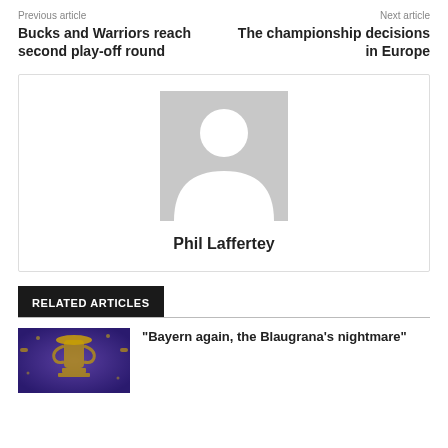Previous article
Bucks and Warriors reach second play-off round
Next article
The championship decisions in Europe
[Figure (illustration): Author profile placeholder with generic person silhouette on grey background, with name Phil Laffertey below]
Phil Laffertey
RELATED ARTICLES
[Figure (photo): Champions League trophy photo with blue purple tones]
“Bayern again, the Blaugrana’s nightmare”